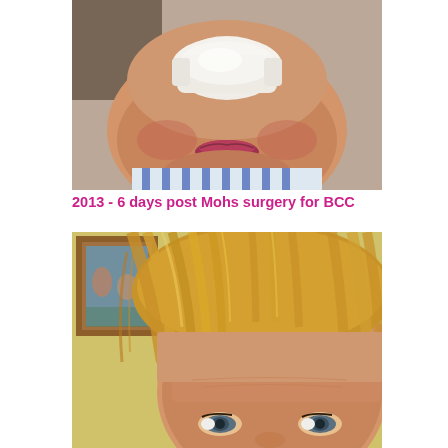[Figure (photo): Close-up photo of a person's lower face with a large white bandage/dressing covering the nose area, 6 days post Mohs surgery for basal cell carcinoma (BCC). Person is wearing a striped top.]
2013 - 6 days post Mohs surgery for BCC
[Figure (photo): Selfie photo of a woman with blonde/strawberry-blonde bangs, showing her forehead and eyes. A framed picture is visible on the wall behind her to the left. Yellow-toned wall in background.]